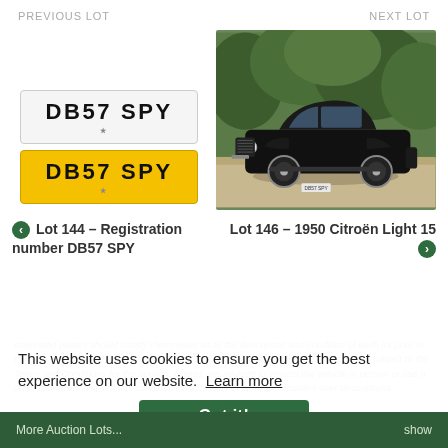PREVIOUS LOT    NEXT LOT
[Figure (photo): Two UK number plates showing 'DB57 SPY' — one white/silver style plate and one yellow style plate]
[Figure (photo): Photograph of a 1950 Citroën Light 15 black vintage car parked on gravel in front of green trees]
Lot 144 – Registration number DB57 SPY
Lot 146 – 1950 Citroën Light 15
Interested parties should satisfy themselves as to the description and condition of each lot prior to the sale. Accordingly, buyers are on notice that each vehicle is offered 'as is/as seen' subject to the Terms and Conditions for the auction. Buyers are advised to inspect the vehicle in person or use a professional to carry out this service. Historics will not entertain disputes over descriptions.
This website uses cookies to ensure you get the best experience on our website. Learn more
More Auction Lots...    show